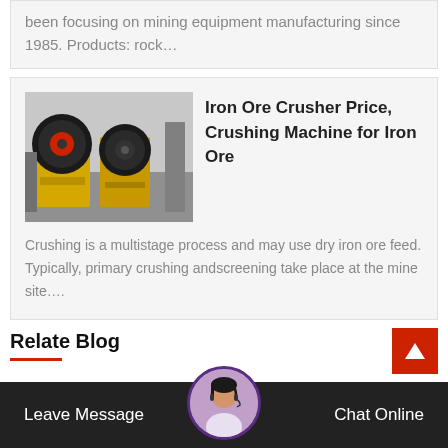been focusing on mining equipment manufacturing since 1985. Products: rock…
Iron Ore Crusher Price, Crushing Machine for Iron Ore
[Figure (photo): Yellow jaw crusher industrial mining equipment photographed in a factory setting]
Crushing is a multistage process and may use dry iron ore feed. Typically, primary crushing andscreening take place at the mine site….
Relate Blog
[Figure (photo): Customer service representative avatar with headset]
Leave Message
Chat Online